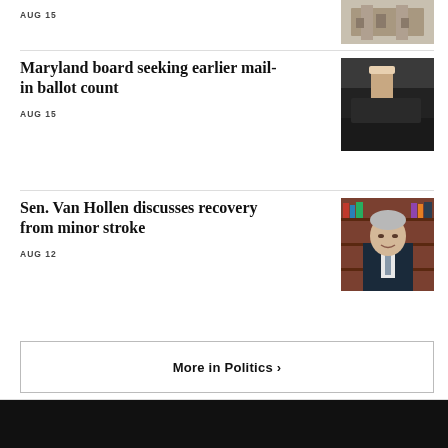AUG 15
[Figure (photo): Photo of building/architecture, partially visible at top]
Maryland board seeking earlier mail-in ballot count
AUG 15
[Figure (photo): Photo of a person dropping a ballot into a mail slot from a car window]
Sen. Van Hollen discusses recovery from minor stroke
AUG 12
[Figure (photo): Photo of Sen. Van Hollen, older man in dark suit, sitting in front of bookshelves]
More in Politics ›